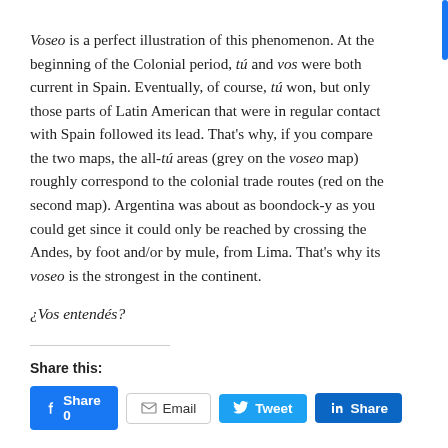Voseo is a perfect illustration of this phenomenon. At the beginning of the Colonial period, tú and vos were both current in Spain. Eventually, of course, tú won, but only those parts of Latin American that were in regular contact with Spain followed its lead. That's why, if you compare the two maps, the all-tú areas (grey on the voseo map) roughly correspond to the colonial trade routes (red on the second map). Argentina was about as boondock-y as you could get since it could only be reached by crossing the Andes, by foot and/or by mule, from Lima. That's why its voseo is the strongest in the continent.
¿Vos entendés?
Share this:
[Figure (other): Social share buttons: Facebook Share 0, Email, Tweet, LinkedIn Share]